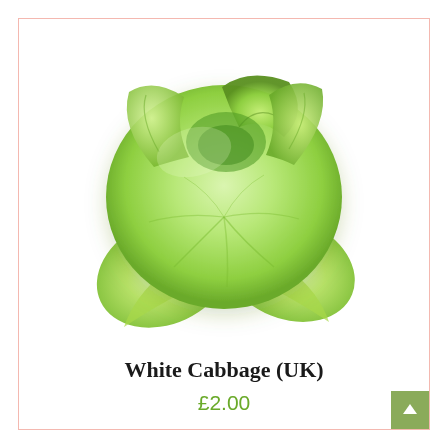[Figure (illustration): A whole white/green cabbage with outer leaves, viewed from slightly above, on a white background.]
White Cabbage (UK)
£2.00